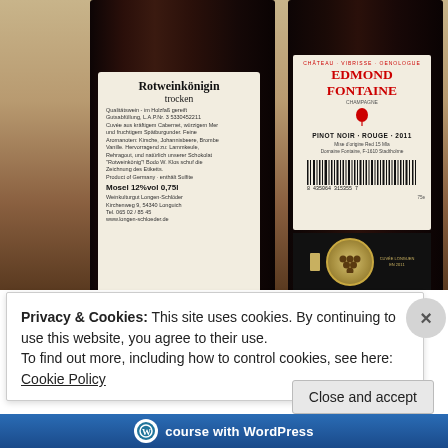[Figure (photo): Photo of two dark wine bottles from behind showing their back labels. Left bottle: 'Rotweinkonigin trocken' label, Qualitätswein, Mosel 12%vol 0,75l, Weinkulturgut Longen-Schlöder. Right bottle: Chateau Edmond Fontaine, Pinot Noir Rouge 2011 label with barcode and decorative medallion at bottom.]
Privacy & Cookies: This site uses cookies. By continuing to use this website, you agree to their use.
To find out more, including how to control cookies, see here: Cookie Policy
Close and accept
course with WordPress